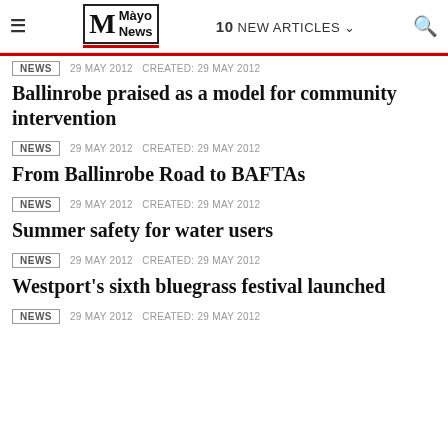Mayo News — 10 NEW ARTICLES
NEWS  29 MAY 2012  CREATED: 29 MAY 2012
Ballinrobe praised as a model for community intervention
NEWS  29 MAY 2012  CREATED: 29 MAY 2012
From Ballinrobe Road to BAFTAs
NEWS  29 MAY 2012  CREATED: 29 MAY 2012
Summer safety for water users
NEWS  29 MAY 2012  CREATED: 29 MAY 2012
Westport's sixth bluegrass festival launched
NEWS  29 MAY 2012  CREATED: 29 MAY 2012